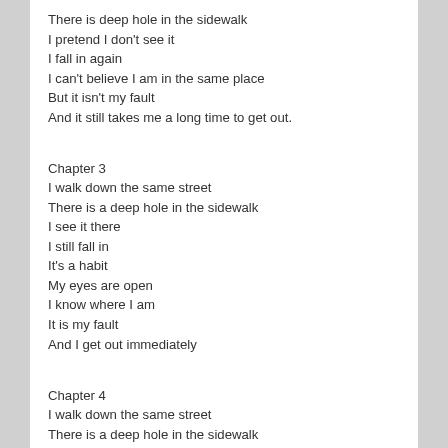There is deep hole in the sidewalk
I pretend I don't see it
I fall in again
I can't believe I am in the same place
But it isn't my fault
And it still takes me a long time to get out.
Chapter 3
I walk down the same street
There is a deep hole in the sidewalk
I see it there
I still fall in
It's a habit
My eyes are open
I know where I am
It is my fault
And I get out immediately
Chapter 4
I walk down the same street
There is a deep hole in the sidewalk
I walk around it.